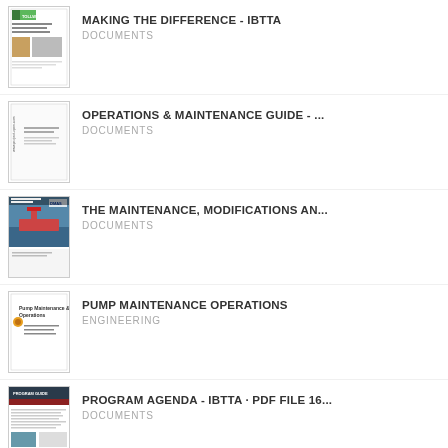[Figure (screenshot): Thumbnail of CIC Tollways document cover page with green logo and building images]
MAKING THE DIFFERENCE - IBTTA
DOCUMENTS
[Figure (screenshot): Thumbnail of Operations & Maintenance Guide document cover, project-open.com, light colored]
OPERATIONS & MAINTENANCE GUIDE - ...
DOCUMENTS
[Figure (screenshot): Thumbnail of Maintenance Modifications document cover showing a ship at sea with DMAS logo]
THE MAINTENANCE, MODIFICATIONS AN...
DOCUMENTS
[Figure (screenshot): Thumbnail of Pump Maintenance & Operations document cover, white background with colored logo]
PUMP MAINTENANCE OPERATIONS
ENGINEERING
[Figure (screenshot): Thumbnail of Program Agenda IBTTA document cover, dark header with grid content]
PROGRAM AGENDA - IBTTA · PDF FILE 16...
DOCUMENTS